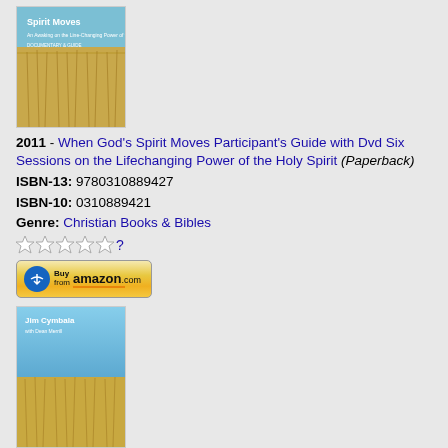[Figure (illustration): Book cover of 'When God's Spirit Moves' showing wheat field and sky, top portion visible]
2011 - When God's Spirit Moves Participant's Guide with Dvd Six Sessions on the Lifechanging Power of the Holy Spirit (Paperback)
ISBN-13: 9780310889427
ISBN-10: 0310889421
Genre: Christian Books & Bibles
[Figure (other): Five empty star rating icons followed by a question mark link]
[Figure (illustration): Buy from Amazon.com button with Amazon logo]
[Figure (illustration): Book cover of 'When God's Spirit Moves' by Jim Cymbala showing blue sky and wheat field]
2011 - When God's Spirit Moves Participant's Guide Six Sessions on the Lifechanging Power of the Holy Spirit (Paperback)
ISBN-13: 9780310322238